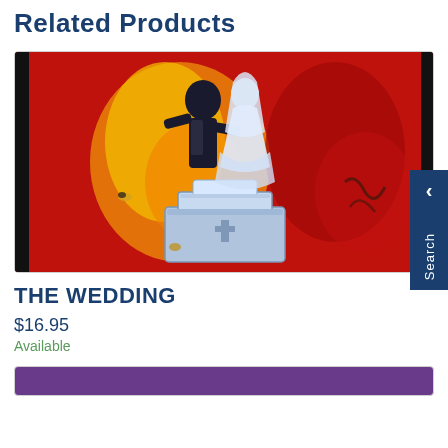Related Products
[Figure (illustration): Painting of a wedding couple (bride in white dress, groom in dark suit) floating above a tiered wedding cake, against a vivid red background with orange and yellow swirling flames.]
THE WEDDING
$16.95
Available